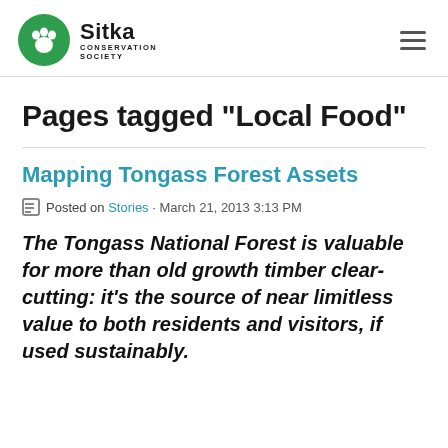[Figure (logo): Sitka Conservation Society logo — green circle with bear paw print icon, text 'Sitka CONSERVATION SOCIETY' beside it]
Pages tagged "Local Food"
Mapping Tongass Forest Assets
Posted on Stories · March 21, 2013 3:13 PM
The Tongass National Forest is valuable for more than old growth timber clear-cutting: it's the source of near limitless value to both residents and visitors, if used sustainably.